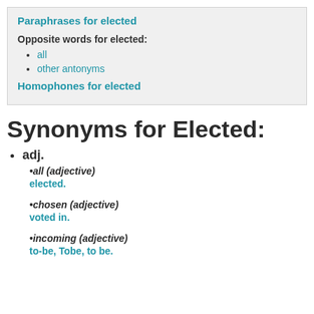Paraphrases for elected
Opposite words for elected:
all
other antonyms
Homophones for elected
Synonyms for Elected:
adj.
•all (adjective)
selected.
•chosen (adjective)
voted in.
•incoming (adjective)
to-be, Tobe, to be.